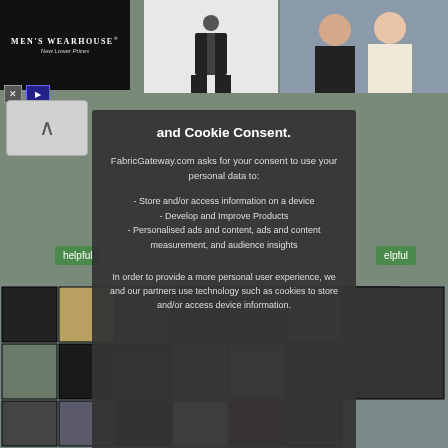[Figure (screenshot): Men's Wearhouse ad banner with black background, brand name and 'New Lower Prices' tagline, with close and play controls]
[Figure (photo): Advertisement showing a man in a dark suit standing against white background]
[Figure (photo): Wedding photo showing a man in dark suit and woman in white dress outdoors]
and Cookie Consent.
FabricGateway.com asks for your consent to use your personal data to:
- Store and/or access information on a device
- Develop and Improve Products
- Personalised ads and content, ads and content measurement, and audience insights
In order to provide a more personal user experience, we and our partners use technology such as cookies to store and/or access device information.
[Figure (photo): Grid of fabric swatches in various dark colors and textures including black, charcoal, gray, brown, navy, and burgundy]